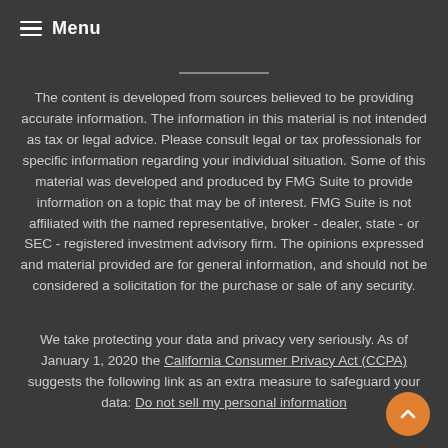≡ Menu
The content is developed from sources believed to be providing accurate information. The information in this material is not intended as tax or legal advice. Please consult legal or tax professionals for specific information regarding your individual situation. Some of this material was developed and produced by FMG Suite to provide information on a topic that may be of interest. FMG Suite is not affiliated with the named representative, broker - dealer, state - or SEC - registered investment advisory firm. The opinions expressed and material provided are for general information, and should not be considered a solicitation for the purchase or sale of any security.
We take protecting your data and privacy very seriously. As of January 1, 2020 the California Consumer Privacy Act (CCPA) suggests the following link as an extra measure to safeguard your data: Do not sell my personal information